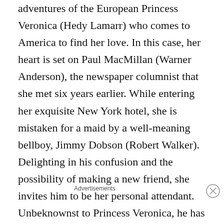adventures of the European Princess Veronica (Hedy Lamarr) who comes to America to find her love. In this case, her heart is set on Paul MacMillan (Warner Anderson), the newspaper columnist that she met six years earlier. While entering her exquisite New York hotel, she is mistaken for a maid by a well-meaning bellboy, Jimmy Dobson (Robert Walker). Delighting in his confusion and the possibility of making a new friend, she invites him to be her personal attendant. Unbeknownst to Princess Veronica, he has fallen in love with her. While the bellboy is chasing after the princess, the girl next door, Leslie Odell (June Allyson), continues to think of him as her knight in shining armor. Unable to walk, she stays in her apartment, dreaming of Jimmy and cherishing her
Advertisements
[Figure (other): Victoria's Secret advertisement banner with a model, VS logo, 'SHOP THE COLLECTION' text, and 'SHOP NOW' button]